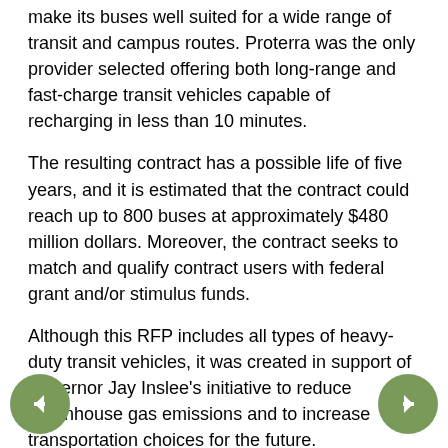make its buses well suited for a wide range of transit and campus routes. Proterra was the only provider selected offering both long-range and fast-charge transit vehicles capable of recharging in less than 10 minutes.
The resulting contract has a possible life of five years, and it is estimated that the contract could reach up to 800 buses at approximately $480 million dollars. Moreover, the contract seeks to match and qualify contract users with federal grant and/or stimulus funds.
Although this RFP includes all types of heavy-duty transit vehicles, it was created in support of Governor Jay Inslee's initiative to reduce greenhouse gas emissions and to increase transportation choices for the future.
Last year, Proterra was selected by King County Metro in Washington State to supply buses for its zero-emission bus demonstration program. This new RFP selection enables other Pacific Northwest transit fleets to begin similar or larger programs.